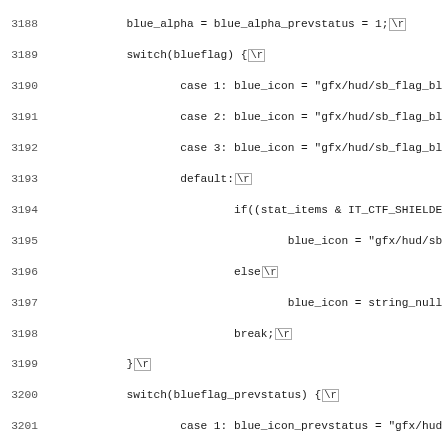[Figure (screenshot): Source code listing showing lines 3188-3219 of a game script, featuring switch statements and conditionals for blue flag and team color logic, displayed in monospace font with line numbers on the left and \r markers in boxes.]